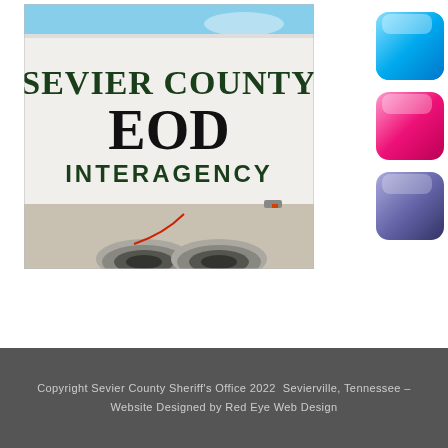[Figure (photo): Photo of a white Sevier County EOD Interagency trailer, showing the side with large text reading SEVIER COUNTY EOD INTERAGENCY, with dual wheels visible at the bottom and blue sky in background.]
[Figure (other): Three decorative rounded-rectangle buttons on the right side: one cyan/blue, one pink/magenta, one purple/blue-gray.]
Copyright Sevier County Sheriff's Office 2022  Sevierville, Tennessee – Website Designed by Red Eye Web Design